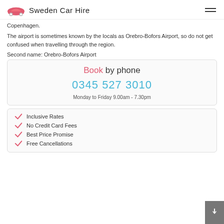Sweden Car Hire
Copenhagen.
The airport is sometimes known by the locals as Orebro-Bofors Airport, so do not get confused when travelling through the region.
Second name: Orebro-Bofors Airport
Book by phone
0345 527 3010
Monday to Friday 9.00am - 7.30pm
Inclusive Rates
No Credit Card Fees
Best Price Promise
Free Cancellations